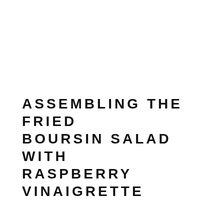ASSEMBLING THE FRIED BOURSIN SALAD WITH RASPBERRY VINAIGRETTE